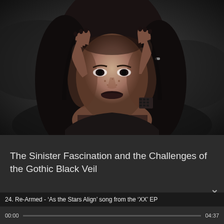[Figure (photo): Black and white portrait of a dark-haired woman with freckles holding her face with both hands, dark background]
The Sinister Fascination and the Challenges of the Gothic Black Veil
24. Re-Armed - ‘As the Stars Align’ song from the ‘XX’ EP
[Figure (screenshot): Media player controls: rewind, play, fast-forward, repeat, shuffle, clock, resize, volume icons]
00:00
04:37